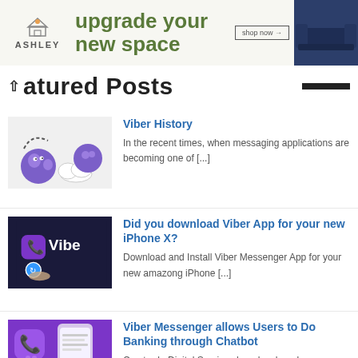[Figure (illustration): Ashley Furniture advertisement banner with logo, 'upgrade your new space' text, shop now button, and photo of a couch]
atured Posts
[Figure (illustration): Viber cartoon characters illustration thumbnail]
Viber History
In the recent times, when messaging applications are becoming one of [...]
[Figure (screenshot): Viber app logo on dark background with finger pressing update button]
Did you download Viber App for your new iPhone X?
Download and Install Viber Messenger App for your new amazong iPhone [...]
[Figure (photo): Viber Messenger app icon on purple background with a phone]
Viber Messenger allows Users to Do Banking through Chatbot
Comtrade Digital Services has developed a programmed banking [...]